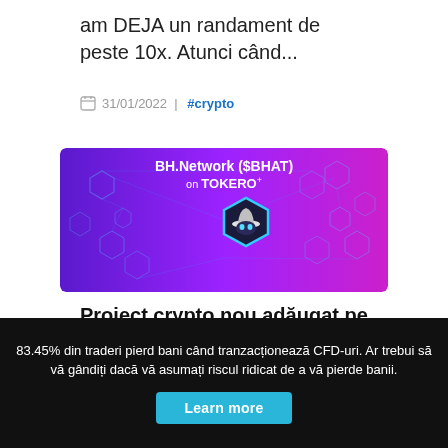am DEJA un randament de peste 10x. Atunci când...
31/01/2022 | #crypto
[Figure (illustration): Promotional banner for BH.Network ($BHAT) on TOKERO platform, purple gradient background with network hexagon graphics and a cowboy-hat robot logo in the center.]
Proiect crypto nou adăugat pe Tokero: BH.Network
83.45% din traderi pierd bani când tranzacționează CFD-uri. Ar trebui să vă gândiți dacă vă asumați riscul ridicat de a vă pierde banii.
Learn more